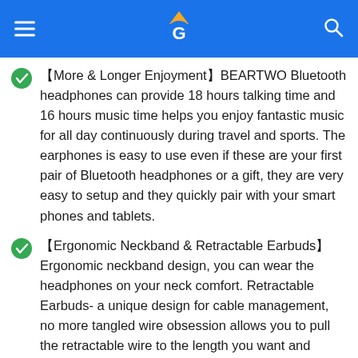Header bar with hamburger menu, logo, and search icon
【More & Longer Enjoyment】BEARTWO Bluetooth headphones can provide 18 hours talking time and 16 hours music time helps you enjoy fantastic music for all day continuously during travel and sports. The earphones is easy to use even if these are your first pair of Bluetooth headphones or a gift, they are very easy to setup and they quickly pair with your smart phones and tablets.
【Ergonomic Neckband & Retractable Earbuds】Ergonomic neckband design, you can wear the headphones on your neck comfort. Retractable Earbuds- a unique design for cable management, no more tangled wire obsession allows you to pull the retractable wire to the length you want and retract when not use.